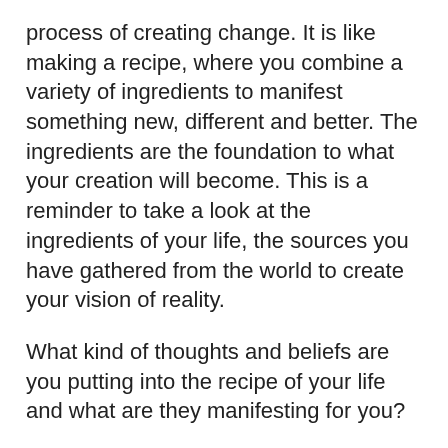process of creating change. It is like making a recipe, where you combine a variety of ingredients to manifest something new, different and better. The ingredients are the foundation to what your creation will become. This is a reminder to take a look at the ingredients of your life, the sources you have gathered from the world to create your vision of reality.
What kind of thoughts and beliefs are you putting into the recipe of your life and what are they manifesting for you?
At the center of the reading is the Seven of Pentacles, which represents enjoying the process of are creating. It requires effort and hard work to manifest goals and reap rewards. Patience is required as life, like nature, grows on its own timeline. It is best to enjoy things as they organically occur, appreciating your efforts and the time it takes for things to grow as they are meant to.